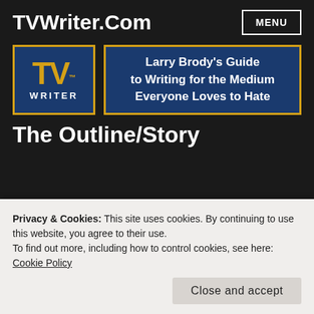TVWriter.Com
[Figure (logo): TVWriter logo: blue box with gold border, large gold 'TV' text and white 'WRITER' text below]
Larry Brody's Guide to Writing for the Medium Everyone Loves to Hate
The Outline/Story
[Figure (photo): Close-up photo of handwritten manuscript pages with cursive text]
Privacy & Cookies: This site uses cookies. By continuing to use this website, you agree to their use.
To find out more, including how to control cookies, see here:
Cookie Policy